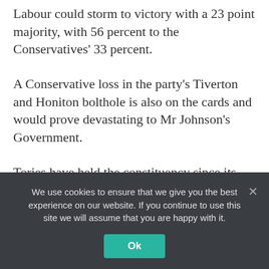Labour could storm to victory with a 23 point majority, with 56 percent to the Conservatives’ 33 percent.
A Conservative loss in the party’s Tiverton and Honiton bolthole is also on the cards and would prove devastating to Mr Johnson’s Government.
Tories have held the constituency since its inception in 1997 by a significant margin.
Before he left earlier this year, MP Neil Parish held a seemingly unspeakable 24,239 majority he received in
We use cookies to ensure that we give you the best experience on our website. If you continue to use this site we will assume that you are happy with it.